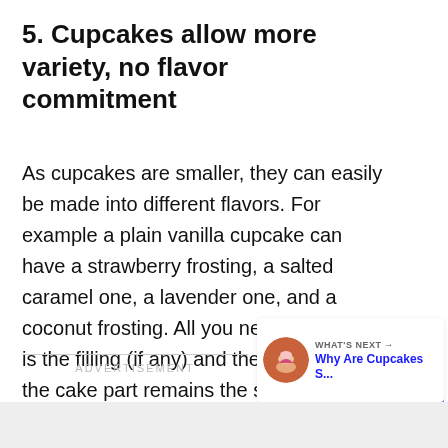5. Cupcakes allow more variety, no flavor commitment
As cupcakes are smaller, they can easily be made into different flavors. For example a plain vanilla cupcake can have a strawberry frosting, a salted caramel one, a lavender one, and a coconut frosting. All you need to change is the filling (if any) and the frosting, but the cake part remains the same.
ADVERTISEMENT
WHAT'S NEXT → Why Are Cupcakes S...